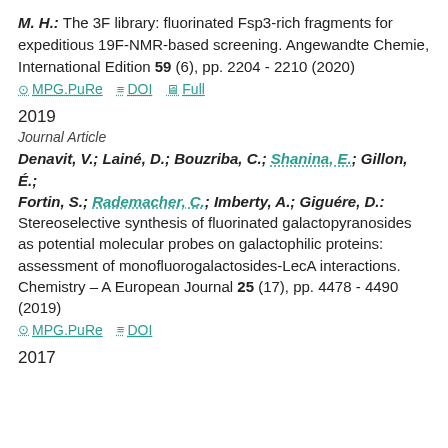M. H.: The 3F library: fluorinated Fsp3-rich fragments for expeditious 19F-NMR-based screening. Angewandte Chemie, International Edition 59 (6), pp. 2204 - 2210 (2020)
MPG.PuRe   DOI   Full
2019
Journal Article
Denavit, V.; Lainé, D.; Bouzriba, C.; Shanina, E.; Gillon, É.; Fortin, S.; Rademacher, C.; Imberty, A.; Giguére, D.: Stereoselective synthesis of fluorinated galactopyranosides as potential molecular probes on galactophilic proteins: assessment of monofluorogalactosides-LecA interactions. Chemistry – A European Journal 25 (17), pp. 4478 - 4490 (2019)
MPG.PuRe   DOI
2017